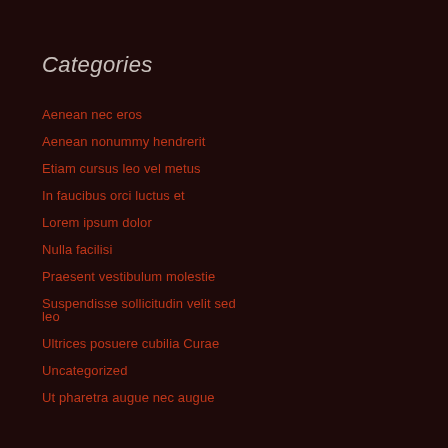Categories
Aenean nec eros
Aenean nonummy hendrerit
Etiam cursus leo vel metus
In faucibus orci luctus et
Lorem ipsum dolor
Nulla facilisi
Praesent vestibulum molestie
Suspendisse sollicitudin velit sed leo
Ultrices posuere cubilia Curae
Uncategorized
Ut pharetra augue nec augue